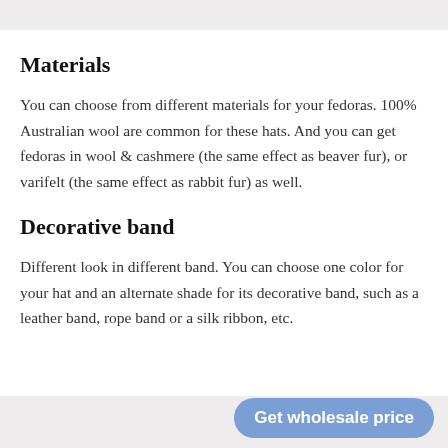Materials
You can choose from different materials for your fedoras. 100% Australian wool are common for these hats. And you can get fedoras in wool & cashmere (the same effect as beaver fur), or varifelt (the same effect as rabbit fur) as well.
Decorative band
Different look in different band. You can choose one color for your hat and an alternate shade for its decorative band, such as a leather band, rope band or a silk ribbon, etc.
Get wholesale price